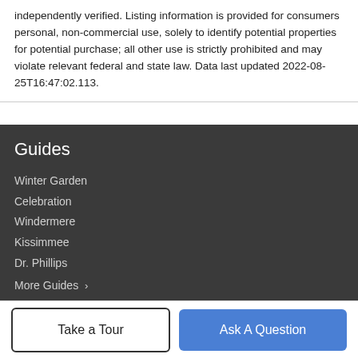independently verified. Listing information is provided for consumers personal, non-commercial use, solely to identify potential properties for potential purchase; all other use is strictly prohibited and may violate relevant federal and state law. Data last updated 2022-08-25T16:47:02.113.
Guides
Winter Garden
Celebration
Windermere
Kissimmee
Dr. Phillips
More Guides ›
Company
Take a Tour
Ask A Question